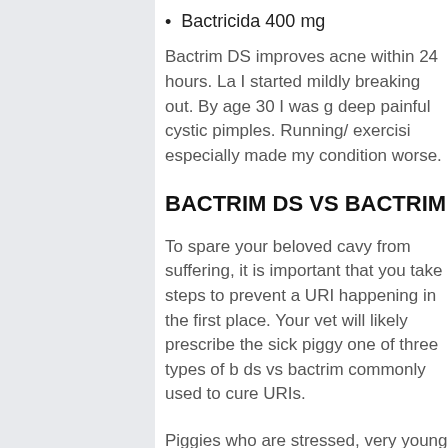Bactricida 400 mg
Bactrim DS improves acne within 24 hours. La I started mildly breaking out. By age 30 I was g deep painful cystic pimples. Running/ exercisi especially made my condition worse.
BACTRIM DS VS BACTRIM
To spare your beloved cavy from suffering, it is important that you take steps to prevent a URI happening in the first place. Your vet will likely prescribe the sick piggy one of three types of b ds vs bactrim commonly used to cure URIs.
Piggies who are stressed, very young or very o at the highest risk of acquiring the sickness. To up your cavy's recovery process, place a heate underneath her cage to help keep her warm a